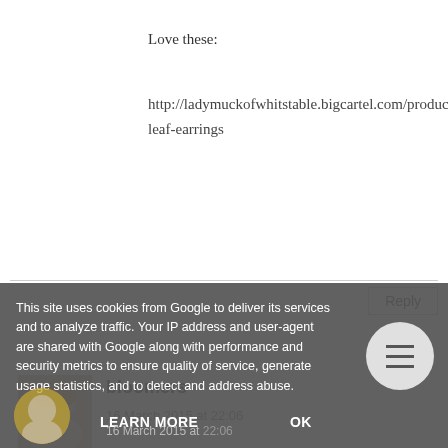Love these:
http://ladymuckofwhitstable.bigcartel.com/product/metalic-leaf-earrings
Reply
bloomers
16 March 2015 at 22:06
I love the Ryukin Fish Necklace
kirstyjfox AT yahoo DOT com
This site uses cookies from Google to deliver its services and to analyze traffic. Your IP address and user-agent are shared with Google along with performance and security metrics to ensure quality of service, generate usage statistics, and to detect and address abuse.
LEARN MORE
OK